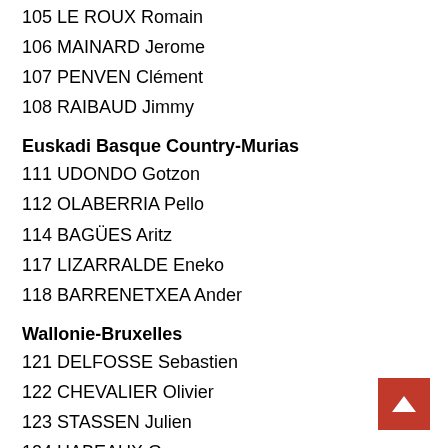105 LE ROUX Romain
106 MAINARD Jerome
107 PENVEN Clément
108 RAIBAUD Jimmy
Euskadi Basque Country-Murias
111 UDONDO Gotzon
112 OLABERRIA Pello
114 BAGÜES Aritz
117 LIZARRALDE Eneko
118 BARRENETXEA Ander
Wallonie-Bruxelles
121 DELFOSSE Sebastien
122 CHEVALIER Olivier
123 STASSEN Julien
124 HABEAUX Gregory
125 DERNIES Tom
126 PARDINI Olivier